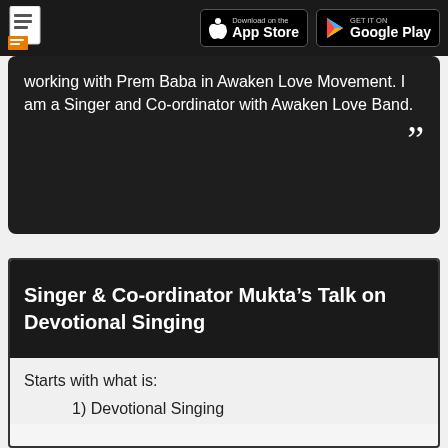Download on the App Store | GET IT ON Google Play
working with Prem Baba in Awaken Love Movement. I am a Singer and Co-ordinator with Awaken Love Band. ””
Singer & Co-ordinator Mukta’s Talk on Devotional Singing
Starts with what is:
1) Devotional Singing